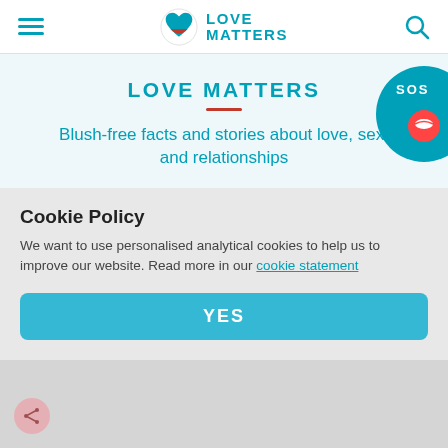[Figure (logo): Love Matters logo with heart icon and hamburger menu and search icon in header bar]
LOVE MATTERS
Blush-free facts and stories about love, sex, and relationships
[Figure (illustration): SOS badge with lips location pin on teal circular background, partially visible on right side]
Cookie Policy
We want to use personalised analytical cookies to help us to improve our website. Read more in our cookie statement
YES